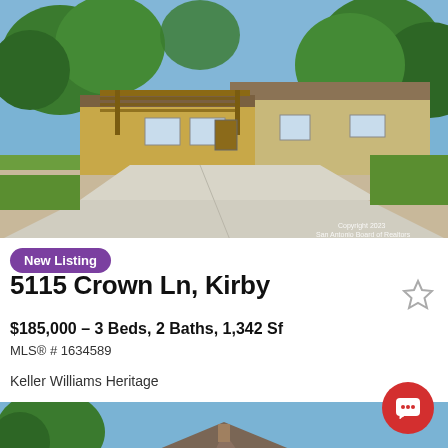[Figure (photo): Exterior photo of a single-story house with a carport/pergola structure, concrete driveway, green lawn, and trees in the background. Blue sky visible. Copyright watermark from San Antonio Board of Realtors.]
New Listing
5115 Crown Ln, Kirby
$185,000 – 3 Beds, 2 Baths, 1,342 Sf
MLS® # 1634589
Keller Williams Heritage
[Figure (photo): Partial exterior photo of another house showing the roof and upper portion of a brick facade with trees.]